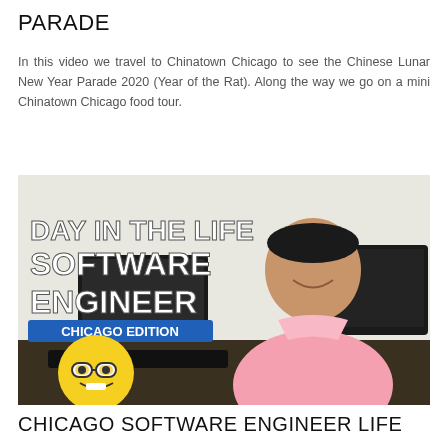PARADE
In this video we travel to Chinatown Chicago to see the Chinese Lunar New Year Parade 2020 (Year of the Rat). Along the way we go on a mini Chinatown Chicago food tour.
[Figure (photo): Thumbnail image for a YouTube video titled 'DAY IN THE LIFE SOFTWARE ENGINEER CHICAGO EDITION' featuring a man in a pink shirt sitting at a computer desk with monitors, and a nerd emoji in the bottom left corner.]
CHICAGO SOFTWARE ENGINEER LIFE